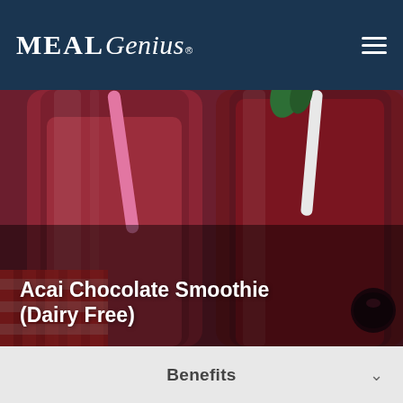MealGenius®
[Figure (photo): Two glass bottles filled with dark berry/acai chocolate smoothie with pink straws, set on a red checkered cloth background]
Acai Chocolate Smoothie (Dairy Free)
Benefits